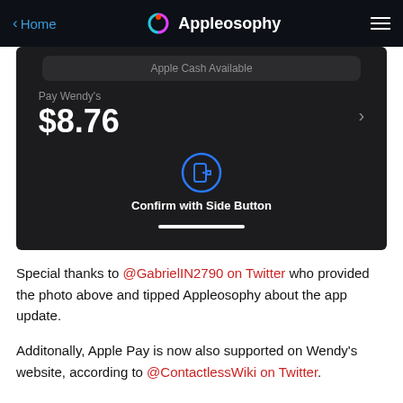Home | Appleosophy
[Figure (screenshot): iPhone screenshot showing Apple Pay screen: 'Apple Cash Available' bar at top, 'Pay Wendy's $8.76' with a right chevron, and a side button icon with text 'Confirm with Side Button', plus a home indicator bar at the bottom.]
Special thanks to @GabrielIN2790 on Twitter who provided the photo above and tipped Appleosophy about the app update.
Additonally, Apple Pay is now also supported on Wendy's website, according to @ContactlessWiki on Twitter.